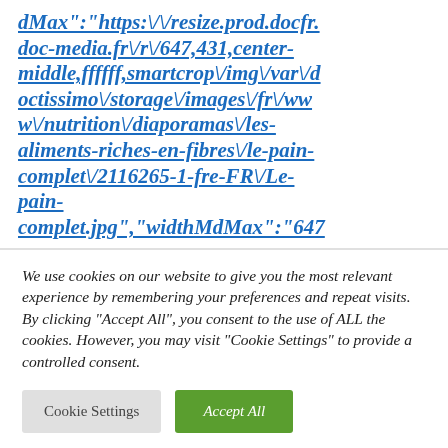dMax":"https:\/\/resize.prod.docfr.doc-media.fr\/r\/647,431,center-middle,ffffff,smartcrop\/img\/var\/doctissimo\/storage\/images\/fr\/www\/nutrition\/diaporamas\/les-aliments-riches-en-fibres\/le-pain-complet\/2116265-1-fre-FR\/Le-pain-complet.jpg","widthMdMax":"647
We use cookies on our website to give you the most relevant experience by remembering your preferences and repeat visits. By clicking “Accept All”, you consent to the use of ALL the cookies. However, you may visit “Cookie Settings” to provide a controlled consent.
Cookie Settings
Accept All